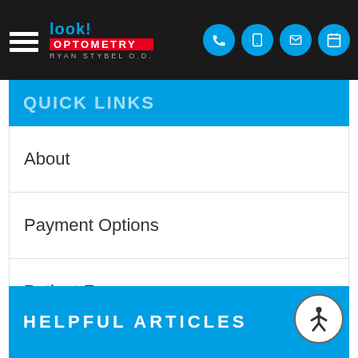[Figure (logo): Look! Optometry logo with hamburger menu and navigation icons on dark background]
Quick Links
About
Payment Options
Patient Forms
Contact Us
HELPFUL ARTICLES